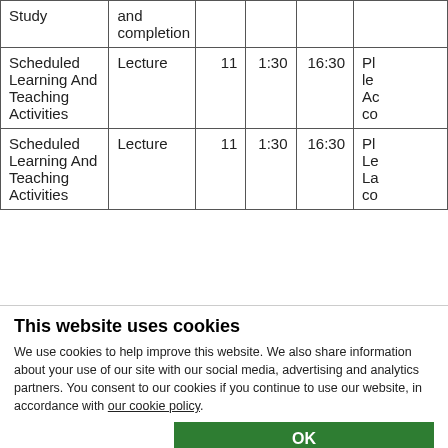| Study | and completion |  |  |  |  |
| --- | --- | --- | --- | --- | --- |
| Scheduled Learning And Teaching Activities | Lecture | 11 | 1:30 | 16:30 | Pl le Ac co |
| Scheduled Learning And Teaching Activities | Lecture | 11 | 1:30 | 16:30 | Pl Le La co |
This website uses cookies
We use cookies to help improve this website. We also share information about your use of our site with our social media, advertising and analytics partners. You consent to our cookies if you continue to use our website, in accordance with our cookie policy.